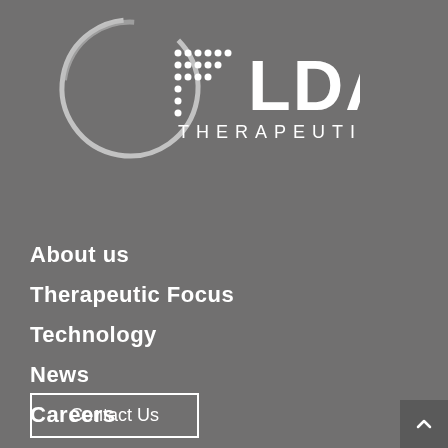[Figure (logo): Feldan Therapeutics logo — white circular arc with stylized F (made of dots) and text FELDAN THERAPEUTICS on dark gray background]
About us
Therapeutic Focus
Technology
News
Careers
Contact Us